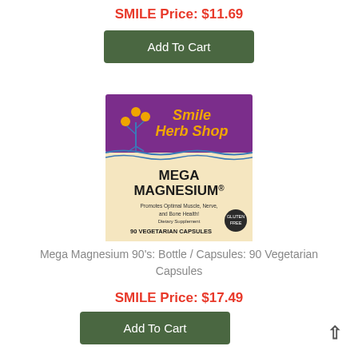SMILE Price: $11.69
Add To Cart
[Figure (photo): Smile Herb Shop Mega Magnesium product box - purple header with golden text 'Smile Herb Shop', illustration of herbs/plants, beige lower section with bold black text 'MEGA MAGNESIUM®', subtitle 'Promotes Optimal Muscle, Nerve, and Bone Health! Dietary Supplement', '90 VEGETARIAN CAPSULES']
Mega Magnesium 90's: Bottle / Capsules: 90 Vegetarian Capsules
SMILE Price: $17.49
Add To Cart